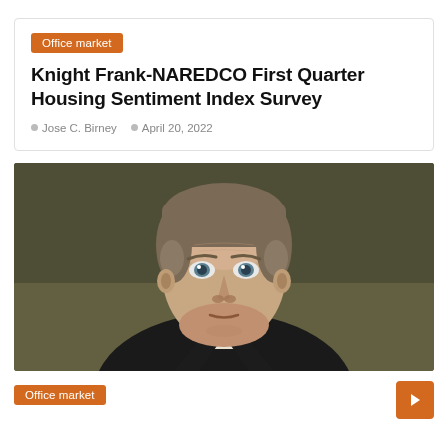Office market
Knight Frank-NAREDCO First Quarter Housing Sentiment Index Survey
Jose C. Birney   April 20, 2022
[Figure (photo): Headshot portrait of a man with short grey-brown hair wearing a dark suit and white shirt, against a dark olive/brown background.]
Office market